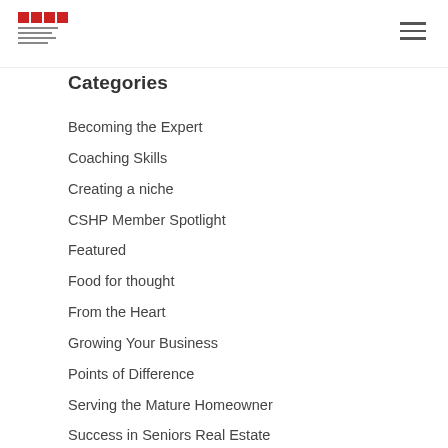SRES logo and navigation
Categories
Becoming the Expert
Coaching Skills
Creating a niche
CSHP Member Spotlight
Featured
Food for thought
From the Heart
Growing Your Business
Points of Difference
Serving the Mature Homeowner
Success in Seniors Real Estate
Uncategorized